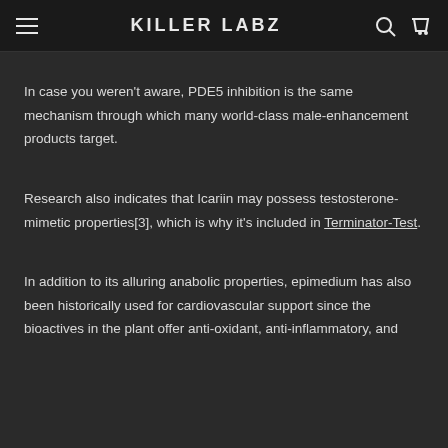KILLER LABZ
In case you weren't aware, PDE5 inhibition is the same mechanism through which many world-class male-enhancement products target.
Research also indicates that Icariin may possess testosterone-mimetic properties[3], which is why it's included in Terminator-Test.
In addition to its alluring anabolic properties, epimedium has also been historically used for cardiovascular support since the bioactives in the plant offer anti-oxidant, anti-inflammatory, and